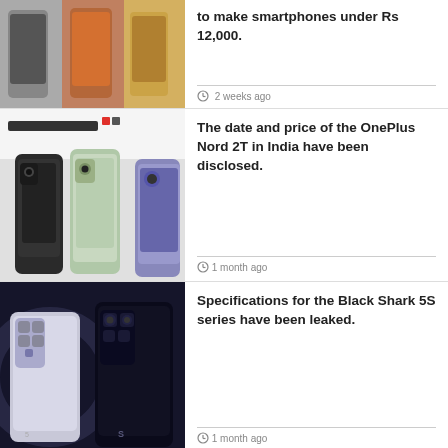to make smartphones under Rs 12,000.
2 weeks ago
[Figure (photo): OnePlus Nord 2T promotional image with text 'Pretty much everything you could ask for.']
The date and price of the OnePlus Nord 2T in India have been disclosed.
1 month ago
[Figure (photo): Black Shark 5S series gaming smartphones promotional image]
Specifications for the Black Shark 5S series have been leaked.
1 month ago
©2020 PhonePuff.Pvt.Ltd